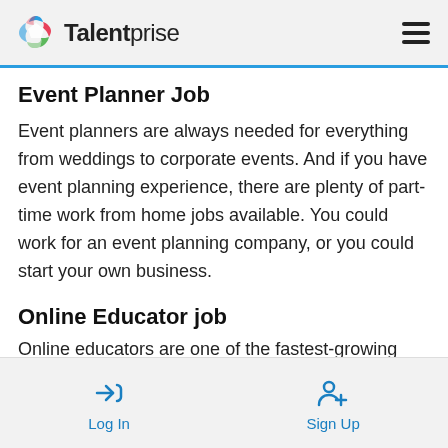Talentprise
Event Planner Job
Event planners are always needed for everything from weddings to corporate events. And if you have event planning experience, there are plenty of part-time work from home jobs available. You could work for an event planning company, or you could start your own business.
Online Educator job
Online educators...
Log In  Sign Up